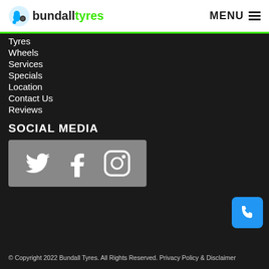bundalltyres  MENU
Tyres
Wheels
Services
Specials
Location
Contact Us
Reviews
SOCIAL MEDIA
[Figure (infographic): Social media icons: Twitter bird, Facebook f, Instagram camera on grey background]
[Figure (infographic): Blue phone button in bottom right corner]
© Copyright 2022 Bundall Tyres. All Rights Reserved. Privacy Policy & Disclaimer